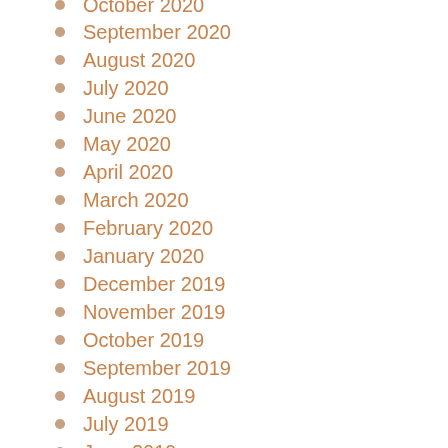October 2020
September 2020
August 2020
July 2020
June 2020
May 2020
April 2020
March 2020
February 2020
January 2020
December 2019
November 2019
October 2019
September 2019
August 2019
July 2019
June 2019